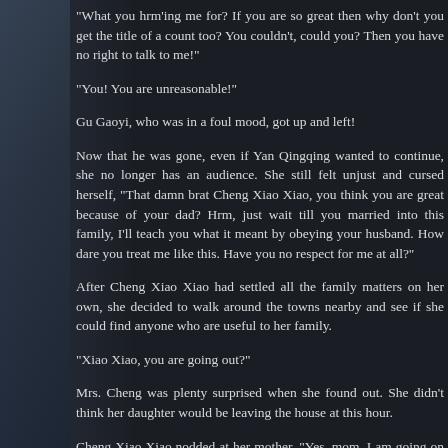"What you hrm'ing me for? If you are so great then why don't you get the title of a count too? You couldn't, could you? Then you have no right to talk to me!"
"You! You are unreasonable!"
Gu Gaoyi, who was in a foul mood, got up and left!
Now that he was gone, even if Yan Qingqing wanted to continue, she no longer has an audience. She still felt unjust and cursed herself, "That damn brat Cheng Xiao Xiao, you think you are great because of your dad? Hrm, just wait till you married into this family, I'll teach you what it meant by obeying your husband. How dare you treat me like this. Have you no respect for me at all?"
After Cheng Xiao Xiao had settled all the family matters on her own, she decided to walk around the towns nearby and see if she could find anyone who are useful to her family.
"Xiao Xiao, you are going out?"
Mrs. Cheng was plenty surprised when she found out. She didn't think her daughter would be leaving the house at this hour.
Cheng Xiao Xiao nodded at her mother, "Yes, mom. I am going on a short trip. I will be back in a few days!"
"No! You are a girl, what do you mean to take a trip? I don